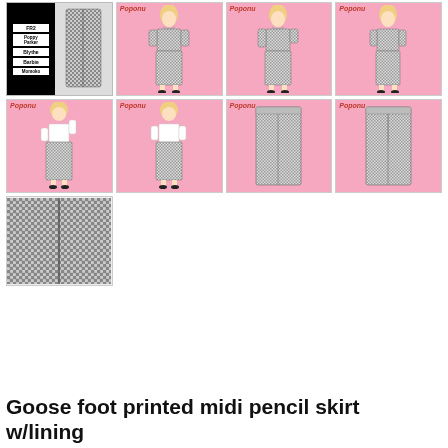[Figure (photo): Product listing image grid for a goose foot printed midi pencil skirt doll sewing pattern/product. Row 1: First cell shows category labels (FR2, Poppy Parker, Blythe, Barbie, Momoko) next to a skirt image. Three more cells show pink-background doll figures wearing a houndstooth/goose-foot print jacket and pencil skirt outfit from front, 3/4, and side views. Row 2: Four cells showing doll figures in the skirt alone (no jacket) from various angles plus close-up skirt views. Row 3: One cell showing close-up of the actual fabric (goose foot/houndstooth pattern).]
Goose foot printed midi pencil skirt w/lining